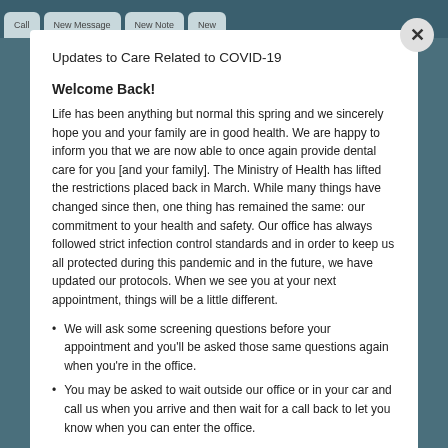Updates to Care Related to COVID-19
Welcome Back!
Life has been anything but normal this spring and we sincerely hope you and your family are in good health. We are happy to inform you that we are now able to once again provide dental care for you [and your family]. The Ministry of Health has lifted the restrictions placed back in March. While many things have changed since then, one thing has remained the same: our commitment to your health and safety. Our office has always followed strict infection control standards and in order to keep us all protected during this pandemic and in the future, we have updated our protocols. When we see you at your next appointment, things will be a little different.
We will ask some screening questions before your appointment and you'll be asked those same questions again when you're in the office.
You may be asked to wait outside our office or in your car and call us when you arrive and then wait for a call back to let you know when you can enter the office.